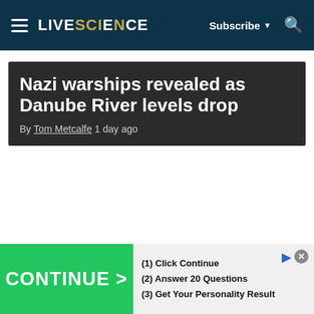LIVESCIENCE — Subscribe
Nazi warships revealed as Danube River levels drop
By Tom Metcalfe 1 day ago
Four key 'nail-biter moments' to
[Figure (screenshot): Advertisement banner: green CONTINUE > button on left, with steps (1) Click Continue, (2) Answer 20 Questions, (3) Get Your Personality Result on right]